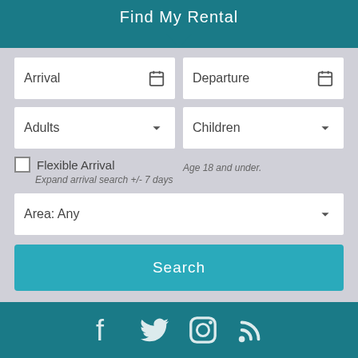Find My Rental
Arrival
Departure
Adults
Children
Flexible Arrival
Expand arrival search +/- 7 days
Age 18 and under.
Area: Any
Search
[Figure (infographic): Social media icons: Facebook, Twitter, Instagram, RSS feed]
CONTACT US